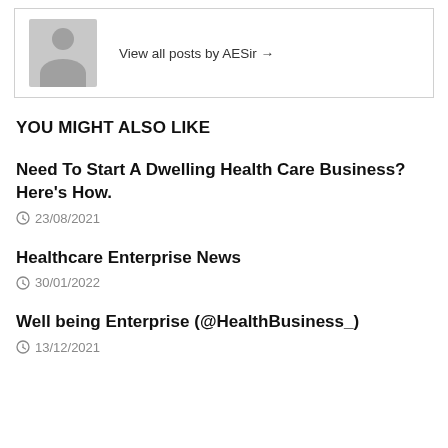[Figure (illustration): Author avatar placeholder showing a grey silhouette of a person (head and shoulders) with a link text 'View all posts by AESir →' to the right]
YOU MIGHT ALSO LIKE
Need To Start A Dwelling Health Care Business? Here's How.
23/08/2021
Healthcare Enterprise News
30/01/2022
Well being Enterprise (@HealthBusiness_)
13/12/2021